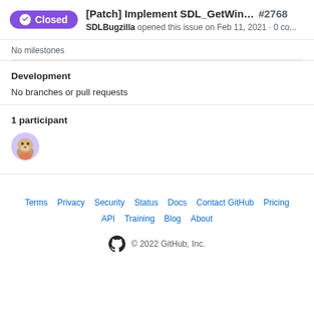[Patch] Implement SDL_GetWindowB... #2768 SDLBugzilla opened this issue on Feb 11, 2021 · 0 co...
No milestones
Development
No branches or pull requests
1 participant
[Figure (illustration): Avatar of a participant (cartoon dinosaur/animal character)]
Terms · Privacy · Security · Status · Docs · Contact GitHub · Pricing · API · Training · Blog · About · © 2022 GitHub, Inc.